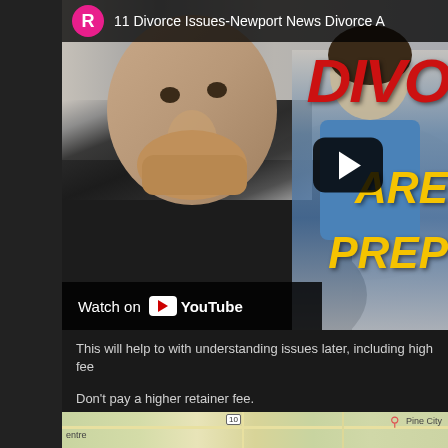[Figure (screenshot): YouTube video thumbnail showing a man in a dark shirt with his hand to his chin looking worried, a child in the background, text overlay reading 'DIVO', 'ARE', 'PREP' in red and yellow. Channel icon is a pink circle with R. Title reads '11 Divorce Issues-Newport News Divorce A'. Play button visible. 'Watch on YouTube' bar at bottom.]
This will help to with understanding issues later, including high fee
Don't pay a higher retainer fee.
[Figure (map): Partial map showing roads, labels 'entre', route marker '10', and 'Pine City']